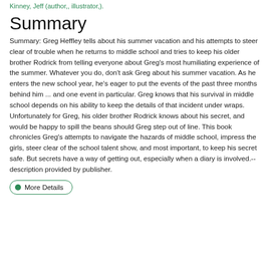Kinney, Jeff (author,, illustrator,).
Summary
Summary: Greg Heffley tells about his summer vacation and his attempts to steer clear of trouble when he returns to middle school and tries to keep his older brother Rodrick from telling everyone about Greg's most humiliating experience of the summer. Whatever you do, don't ask Greg about his summer vacation. As he enters the new school year, he's eager to put the events of the past three months behind him ... and one event in particular. Greg knows that his survival in middle school depends on his ability to keep the details of that incident under wraps. Unfortunately for Greg, his older brother Rodrick knows about his secret, and would be happy to spill the beans should Greg step out of line. This book chronicles Greg's attempts to navigate the hazards of middle school, impress the girls, steer clear of the school talent show, and most important, to keep his secret safe. But secrets have a way of getting out, especially when a diary is involved.--description provided by publisher.
More Details